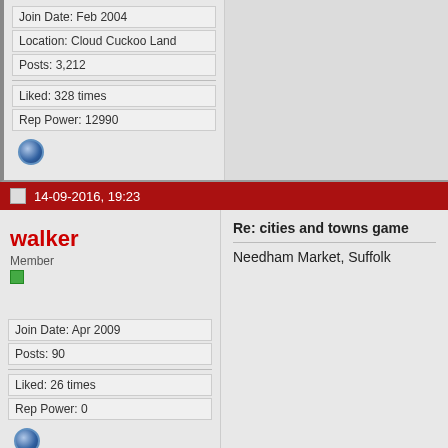Join Date: Feb 2004
Location: Cloud Cuckoo Land
Posts: 3,212
Liked: 328 times
Rep Power: 12990
14-09-2016, 19:23
walker
Member
Join Date: Apr 2009
Posts: 90
Liked: 26 times
Rep Power: 0
Re: cities and towns game
Needham Market, Suffolk
14-09-2016, 20:36
verself
Re: cities and towns game